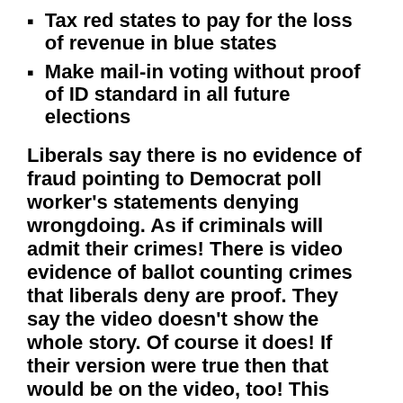Tax red states to pay for the loss of revenue in blue states
Make mail-in voting without proof of ID standard in all future elections
Liberals say there is no evidence of fraud pointing to Democrat poll worker’s statements denying wrongdoing. As if criminals will admit their crimes! There is video evidence of ballot counting crimes that liberals deny are proof. They say the video doesn’t show the whole story. Of course it does! If their version were true then that would be on the video, too! This election was proven a fraud when governors said signatures on mail-in ballots didn’t have to be matched. President Trump needs to fight and keep the presidency until the election is overturned, recanvassed, or the people rise up against Democrat